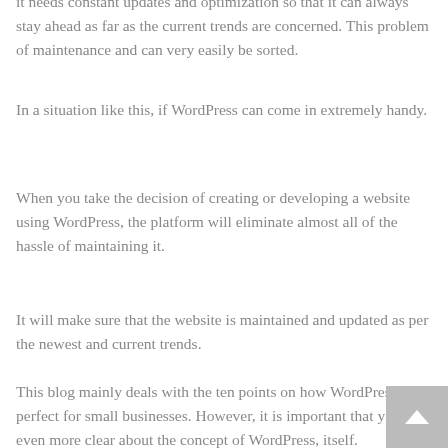it needs constant updates and optimization so that it can always stay ahead as far as the current trends are concerned. This problem of maintenance and can very easily be sorted.
In a situation like this, if WordPress can come in extremely handy.
When you take the decision of creating or developing a website using WordPress, the platform will eliminate almost all of the hassle of maintaining it.
It will make sure that the website is maintained and updated as per the newest and current trends.
This blog mainly deals with the ten points on how WordPress is perfect for small businesses. However, it is important that you are even more clear about the concept of WordPress, itself. Understanding the concept will help you to imbibe the information about the benefits of the platform.